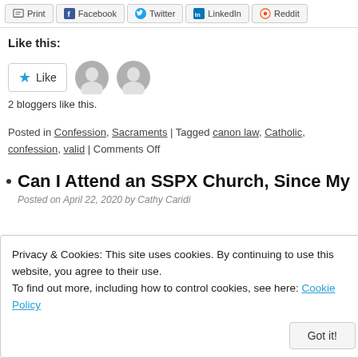[Figure (screenshot): Share bar with Print, Facebook, Twitter, LinkedIn, Reddit buttons]
Like this:
[Figure (screenshot): WordPress Like widget with star Like button and two grey avatar icons]
2 bloggers like this.
Posted in Confession, Sacraments | Tagged canon law, Catholic, confession, valid | Comments Off
Can I Attend an SSPX Church, Since My P
Posted on April 22, 2020 by Cathy Caridi
Privacy & Cookies: This site uses cookies. By continuing to use this website, you agree to their use.
To find out more, including how to control cookies, see here: Cookie Policy